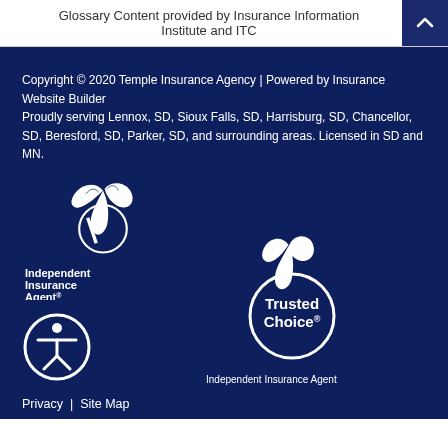Glossary Content provided by Insurance Information Institute and ITC
Copyright © 2020 Temple Insurance Agency | Powered by Insurance Website Builder
Proudly serving Lennox, SD, Sioux Falls, SD, Harrisburg, SD, Chancellor, SD, Beresford, SD, Parker, SD, and surrounding areas. Licensed in SD and MN.
[Figure (logo): Independent Insurance Agent logo - white bird and circular design with text]
[Figure (logo): Trusted Choice® Independent Insurance Agent logo - white bird and circular design]
[Figure (logo): Accessibility icon - person in circle]
Privacy | Site Map